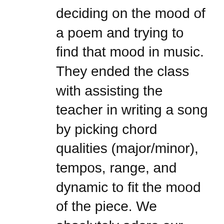deciding on the mood of a poem and trying to find that mood in music. They ended the class with assisting the teacher in writing a song by picking chord qualities (major/minor), tempos, range, and dynamic to fit the mood of the piece. We absolutely adore our students here, but it’s always so nice to go out and connect with students that are too far away to even come to the Cunningham Music School! We also particularly loved being able to go to some libraries that are in districts that don’t have well-funded music programs. We love music and we loved being able